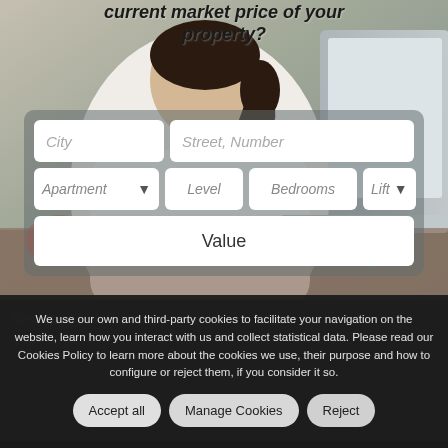[Figure (photo): Background photo of a person (woman with dark hair in bun) sitting at a laptop, with a property valuation search form overlaid on top]
current market price of your property?
City | Street, Number | Apartment ▾ | Level | Bedrooms | Lift ▾ | Value (form fields)
We use our own and third-party cookies to facilitate your navigation on the website, learn how you interact with us and collect statistical data. Please read our Cookies Policy to learn more about the cookies we use, their purpose and how to configure or reject them, if you consider it so.
Accept all | Manage Cookies | Reject